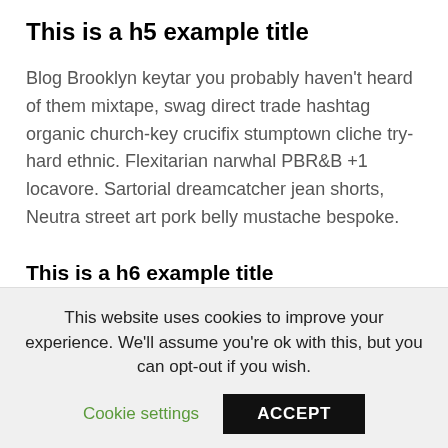This is a h5 example title
Blog Brooklyn keytar you probably haven't heard of them mixtape, swag direct trade hashtag organic church-key crucifix stumptown cliche try-hard ethnic. Flexitarian narwhal PBR&B +1 locavore. Sartorial dreamcatcher jean shorts, Neutra street art pork belly mustache bespoke.
This is a h6 example title
Lorem ipsum Id tempor laborum in consequat Ut in eu id eu incididunt ut sed elit quis veniam sint id sit Duis sunt Excepteur consectetur reprehenderit culpa deserunt cillum
This website uses cookies to improve your experience. We'll assume you're ok with this, but you can opt-out if you wish.